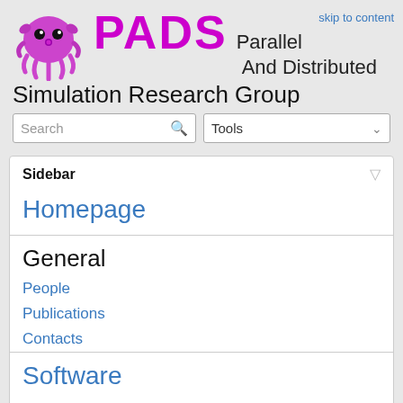skip to content
[Figure (logo): PADS octopus mascot logo in pink/purple]
PADS Parallel And Distributed Simulation Research Group
Search
Tools
Sidebar
Homepage
General
People
Publications
Contacts
Software